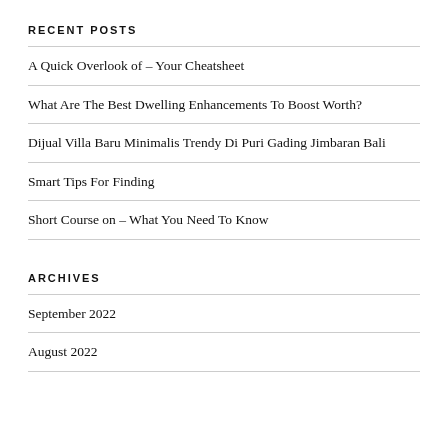RECENT POSTS
A Quick Overlook of – Your Cheatsheet
What Are The Best Dwelling Enhancements To Boost Worth?
Dijual Villa Baru Minimalis Trendy Di Puri Gading Jimbaran Bali
Smart Tips For Finding
Short Course on – What You Need To Know
ARCHIVES
September 2022
August 2022